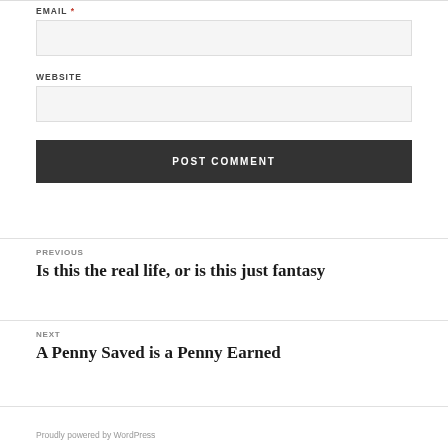EMAIL *
WEBSITE
POST COMMENT
PREVIOUS
Is this the real life, or is this just fantasy
NEXT
A Penny Saved is a Penny Earned
Proudly powered by WordPress